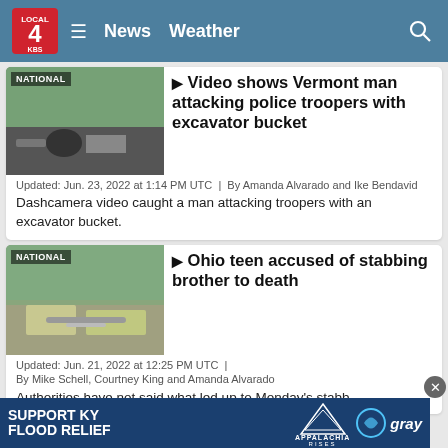LOCAL 4 | News | Weather
Video shows Vermont man attacking police troopers with excavator bucket
Updated: Jun. 23, 2022 at 1:14 PM UTC | By Amanda Alvarado and Ike Bendavid
Dashcamera video caught a man attacking troopers with an excavator bucket.
Ohio teen accused of stabbing brother to death
Updated: Jun. 21, 2022 at 12:25 PM UTC | By Mike Schell, Courtney King and Amanda Alvarado
Authorities have not said what led up to Monday's stabb
[Figure (screenshot): Ad banner: SUPPORT KY FLOOD RELIEF with Appalachia Rises and gray logos]